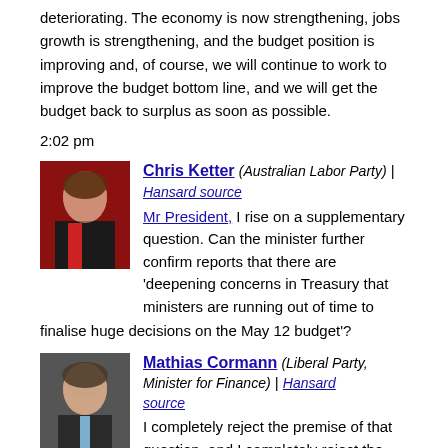deteriorating. The economy is now strengthening, jobs growth is strengthening, and the budget position is improving and, of course, we will continue to work to improve the budget bottom line, and we will get the budget back to surplus as soon as possible.
2:02 pm
Chris Ketter (Australian Labor Party) | Hansard source
Mr President, I rise on a supplementary question. Can the minister further confirm reports that there are 'deepening concerns in Treasury that ministers are running out of time to finalise huge decisions on the May 12 budget'?
Mathias Cormann (Liberal Party, Minister for Finance) | Hansard source
I completely reject the premise of that question, and I completely reject the assertion that is made in that question. What I will confirm is that the government continues to work hard to put Australia on a stronger foundation for the future. The government continues to work hard to protect living standards and to create better opportunities for the future. The government continues to work hard to ensure that the funding for the important benefits and services that the government provides for people across Australia is affordable and sustainable within the economy of the medium to long term—because the situation that we inherited from Labor was completely unsustainable